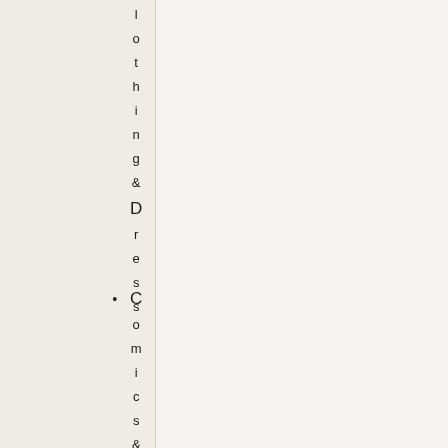Clothing & Dresses
Comics & Gra